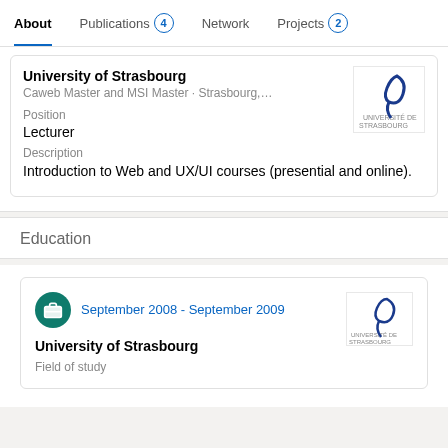About | Publications 4 | Network | Projects 2
University of Strasbourg
Caweb Master and MSI Master · Strasbourg,...
Position
Lecturer
Description
Introduction to Web and UX/UI courses (presential and online).
Education
September 2008 - September 2009
University of Strasbourg
Field of study